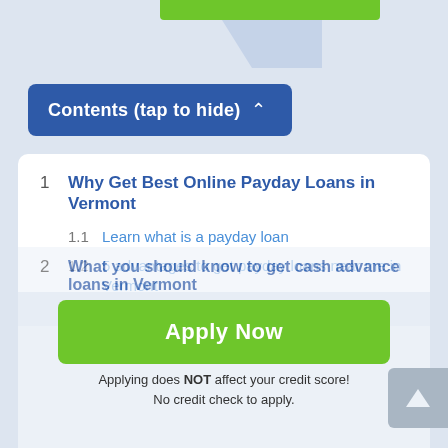Contents (tap to hide) ^
1 Why Get Best Online Payday Loans in Vermont
1.1 Learn what is a payday loan
1.2 5 advantages to get payday loans near me in Vermont
1.3 Choose Vermont Payday Loan at SpeedyLoan
2 What you should know to get cash advance loans in Vermont
2.1 [text obscured] payday loans
Apply Now
Applying does NOT affect your credit score!
No credit check to apply.